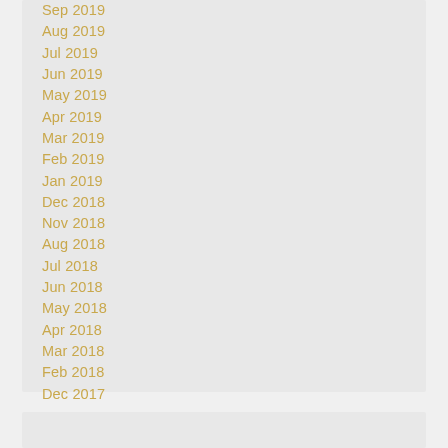Sep 2019
Aug 2019
Jul 2019
Jun 2019
May 2019
Apr 2019
Mar 2019
Feb 2019
Jan 2019
Dec 2018
Nov 2018
Aug 2018
Jul 2018
Jun 2018
May 2018
Apr 2018
Mar 2018
Feb 2018
Dec 2017